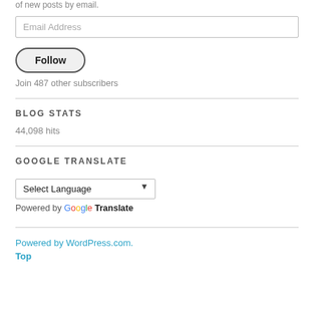of new posts by email.
Email Address
Follow
Join 487 other subscribers
BLOG STATS
44,098 hits
GOOGLE TRANSLATE
Select Language
Powered by Google Translate
Powered by WordPress.com.
Top